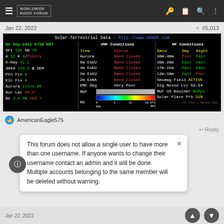Worldwide Radio Forum - navigation bar
Jan 22, 2022  #5,013
[Figure (screenshot): Solar-Terrestrial Data panel showing VHF Conditions and HF Conditions for 06 Sep 2022 0758 GMT. Left column: SFI 130 SN 79, A 32 K 4/Plntry, X-Ray C1.1, 304A 129.2 @ SEM, Ptn Flx 0, Elc Flx 0, Aurora 2/n=1.99, Aur Lat 66.5°, Bz 3.6 SW 704.7. VHF Conditions: Aurora Band Closed, 6m EsEU Band Closed, 4m EsEU Band Closed, 2m EsEU Band Closed, 2m EsNA Band Closed, EME Deg Very Poor, MUF bar, MS scale 0-18 UTC. HF Conditions: 80m-40m Poor/Fair, 30m-20m Fair/Fair, 17m-15m Fair/Fair, 12m-10m Fair/Poor, Geomag Field ACTIVE, Sig Noise Lvl S3-S4, MUF US Boulder NoRpt, Solar Flare Prb 31%.]
AmericanEagle575
↩ Reply
This forum does not allow a single user to have more than one username. If anyone wants to change their username contact an admin and it will be done. Multiple accounts belonging to the same member will be deleted without warning.
Jan 22, 2022  #5,014